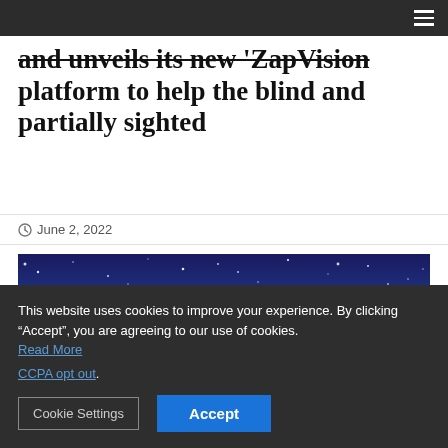and unveils its new 'ZapVision' platform to help the blind and partially sighted
June 2, 2022
[Figure (photo): Night sky with stars on a deep blue background]
This website uses cookies to improve your experience. By clicking “Accept”, you are agreeing to our use of cookies. Read More CCPA opt out.
Cookie Settings  Accept